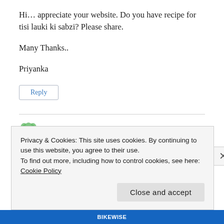Hi… appreciate your website. Do you have recipe for tisi lauki ki sabzi? Please share.
Many Thanks..
Priyanka
Reply
[Figure (illustration): Small green leaf/plant avatar icon]
Privacy & Cookies: This site uses cookies. By continuing to use this website, you agree to their use.
To find out more, including how to control cookies, see here: Cookie Policy
Close and accept